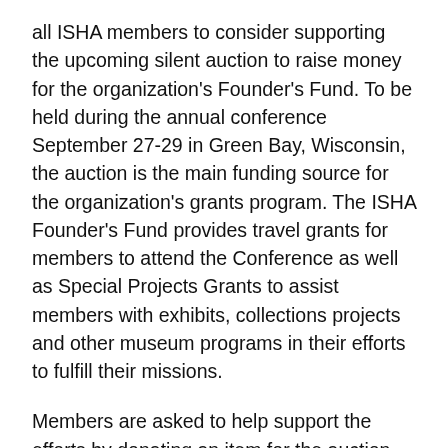all ISHA members to consider supporting the upcoming silent auction to raise money for the organization's Founder's Fund. To be held during the annual conference September 27-29 in Green Bay, Wisconsin, the auction is the main funding source for the organization's grants program. The ISHA Founder's Fund provides travel grants for members to attend the Conference as well as Special Projects Grants to assist members with exhibits, collections projects and other museum programs in their efforts to fulfill their missions.
Members are asked to help support the efforts by donating an item for the auction. When considering what to donate, members should remember the following: packages or experiences are very popular and sell extremely well; autographed memorabilia are always a big hit; most delegates travel to the conference by air so keep in mind ease in getting the item home; and gift certificates/cards